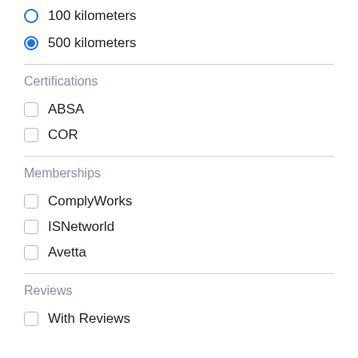100 kilometers
500 kilometers
Certifications
ABSA
COR
Memberships
ComplyWorks
ISNetworld
Avetta
Reviews
With Reviews